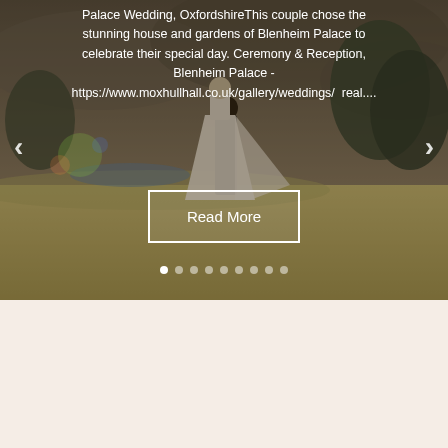[Figure (photo): Slideshow/carousel showing a couple at Blenheim Palace wedding, with overlaid text describing the wedding, navigation arrows, a Read More button, and dot indicators]
Palace Wedding, OxfordshireThis couple chose the stunning house and gardens of Blenheim Palace to celebrate their special day. Ceremony & Reception, Blenheim Palace - https://www.moxhullhall.co.uk/gallery/weddings/  real....
Read More
[Figure (other): Bottom section with light pinkish-beige background, appears to be a content area below the image carousel]